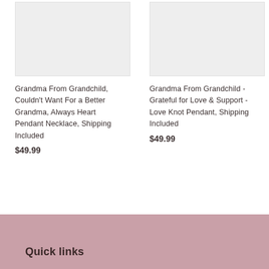[Figure (photo): Product image placeholder for heart pendant necklace (light gray box)]
Grandma From Grandchild, Couldn't Want For a Better Grandma, Always Heart Pendant Necklace, Shipping Included
$49.99
[Figure (photo): Product image placeholder for love knot pendant (light gray box)]
Grandma From Grandchild - Grateful for Love & Support - Love Knot Pendant, Shipping Included
$49.99
Quick links